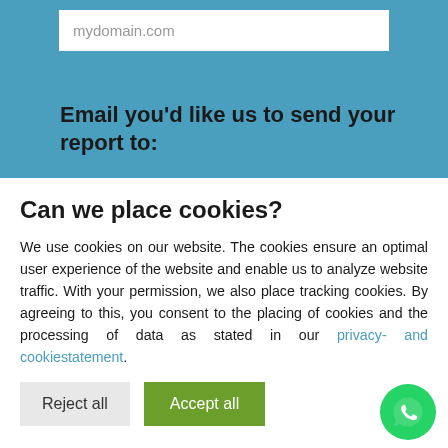mydomain.com
Email you'd like us to send your report to:
Can we place cookies?
We use cookies on our website. The cookies ensure an optimal user experience of the website and enable us to analyze website traffic. With your permission, we also place tracking cookies. By agreeing to this, you consent to the placing of cookies and the processing of data as stated in our privacy- and cookiestatement.
Reject all
Accept all